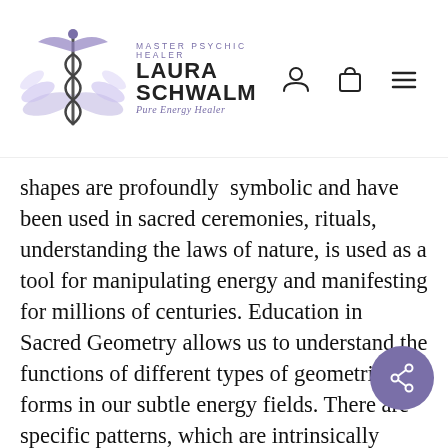MASTER PSYCHIC HEALER LAURA SCHWALM Pure Energy Healer
shapes are profoundly symbolic and have been used in sacred ceremonies, rituals, understanding the laws of nature, is used as a tool for manipulating energy and manifesting for millions of centuries. Education in Sacred Geometry allows us to understand the functions of different types of geometric forms in our subtle energy fields. There are specific patterns, which are intrinsically linked to particular layers of our subtle bodies and spiritual planes. Sacred Geometry can be used as a powerful tool for Spiritual Evolution. It allows us to take the next step in life, healing, creativity, and most importantly